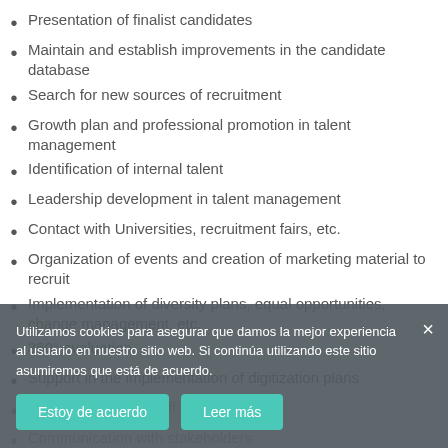Presentation of finalist candidates
Maintain and establish improvements in the candidate database
Search for new sources of recruitment
Growth plan and professional promotion in talent management
Identification of internal talent
Leadership development in talent management
Contact with Universities, recruitment fairs, etc.
Organization of events and creation of marketing material to recruit
Implementation of diversity plans, equal opportunities, change management, etc.
360° evaluation
Support in the implementation of digitization plans
Reception of new staff and training
Communication with stakeholders
Types of profiles:
Technology Profiles
Lawyers and Economists